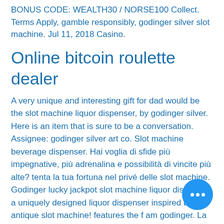BONUS CODE: WEALTH30 / NORSE100 Collect. Terms Apply, gamble responsibly, godinger silver slot machine. Jul 11, 2018 Casino.
Online bitcoin roulette dealer
A very unique and interesting gift for dad would be the slot machine liquor dispenser, by godinger silver. Here is an item that is sure to be a conversation. Assignee: godinger silver art co. Slot machine beverage dispenser. Hai voglia di sfide più impegnative, più adrenalina e possibilità di vincite più alte? tenta la tua fortuna nel privé delle slot machine. Godinger lucky jackpot slot machine liquor dispenser a uniquely designed liquor dispenser inspired by an antique slot machine! features the f am godinger. La slot machine, in italiano chiamata spesso macchina mangiasoldi, è